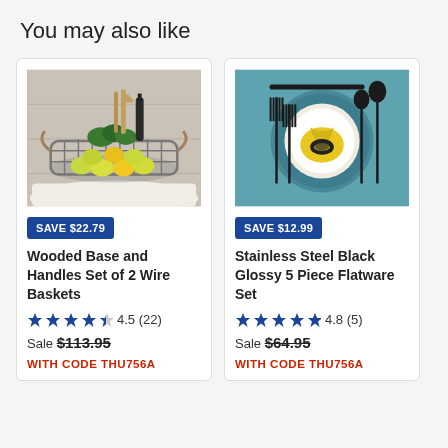You may also like
[Figure (photo): Wire basket with fruits, greens, and wooden utensils on a white background]
SAVE $22.79
Wooded Base and Handles Set of 2 Wire Baskets
4.5 (22)
Sale $113.95
WITH CODE THU756A
[Figure (photo): Black flatware set arranged around a plate with yellow napkin on teal background]
SAVE $12.99
Stainless Steel Black Glossy 5 Piece Flatware Set
4.8 (5)
Sale $64.95
WITH CODE THU756A